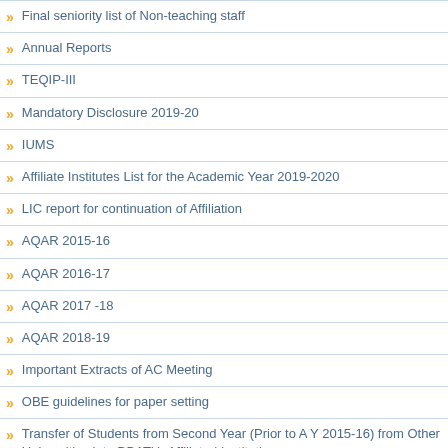Final seniority list of Non-teaching staff
Annual Reports
TEQIP-III
Mandatory Disclosure 2019-20
IUMS
Affiliate Institutes List for the Academic Year 2019-2020
LIC report for continuation of Affiliation
AQAR 2015-16
AQAR 2016-17
AQAR 2017 -18
AQAR 2018-19
Important Extracts of AC Meeting
OBE guidelines for paper setting
Transfer of Students from Second Year (Prior to A Y 2015-16) from Other Universities into DBATU- Affiliated Institutions
Transfer of students from II to III Year (from AY 2015-16) from other Universities into DBATU- Affiliated Institutions.
Celebrated National Sports Day
Transfer of Students from II to III Year (from AY 2015-16) from other Universities into DBATU- Affiliated Institutions.
Equivalence of Subjects
Minutes of Meetings
AWS Educate Program